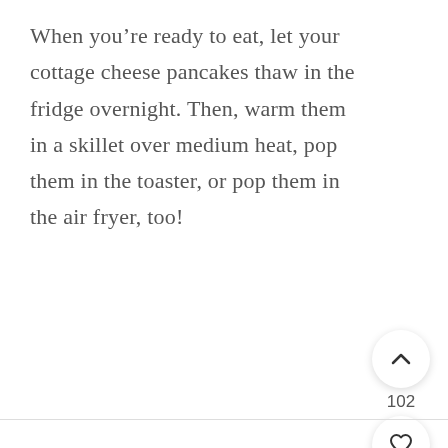When you’re ready to eat, let your cottage cheese pancakes thaw in the fridge overnight. Then, warm them in a skillet over medium heat, pop them in the toaster, or pop them in the air fryer, too!
[Figure (other): UI widget panel with three circular buttons: an upward chevron arrow button (white), a count label showing 102, a heart/favorite button (white), and a search/magnify button (salmon/pink color).]